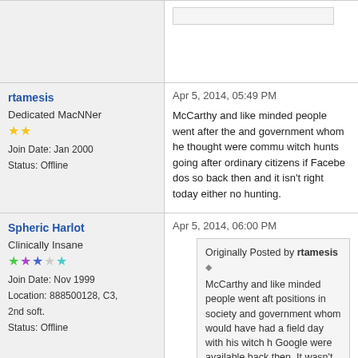[partial post content at top]
rtamesis
Dedicated MacNNer
Join Date: Jan 2000
Status: Offline
Apr 5, 2014, 05:49 PM
McCarthy and like minded people went after the and government whom he thought were commu witch hunts going after ordinary citizens if Faceboo dos so back then and it isn't right today either no hunting.
Spheric Harlot
Clinically Insane
Join Date: Nov 1999
Location: 888500128, C3, 2nd soft.
Status: Offline
Apr 5, 2014, 06:00 PM
Originally Posted by rtamesis
McCarthy and like minded people went aft positions in society and government whom would have had a field day with his witch h Google were available back then. It wasn't either no matter which side in the political s
Nobody's doing "witch-hunting".
People have the right to say "Hey, this company them." I reserve the right to not support assholes